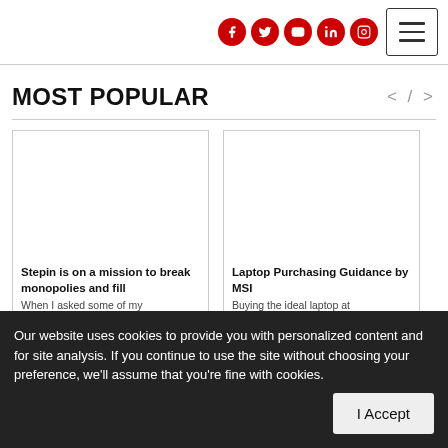Social media icons and hamburger menu
MOST POPULAR
[Figure (other): Empty card placeholder image left]
[Figure (other): Empty card placeholder image right]
Stepin is on a mission to break monopolies and fill
Laptop Purchasing Guidance by MSI
When I asked some of my
Buying the ideal laptop at
Our website uses cookies to provide you with personalized content and for site analysis. If you continue to use the site without choosing your preference, we'll assume that you're fine with cookies.